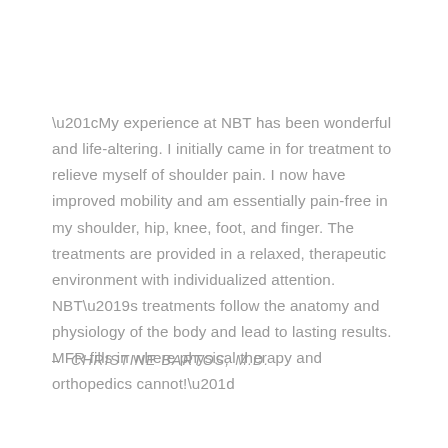“My experience at NBT has been wonderful and life-altering. I initially came in for treatment to relieve myself of shoulder pain. I now have improved mobility and am essentially pain-free in my shoulder, hip, knee, foot, and finger. The treatments are provided in a relaxed, therapeutic environment with individualized attention. NBT’s treatments follow the anatomy and physiology of the body and lead to lasting results. MFR fills in where physical therapy and orthopedics cannot!”
–  CHRISTINE BARTOS, M.D.